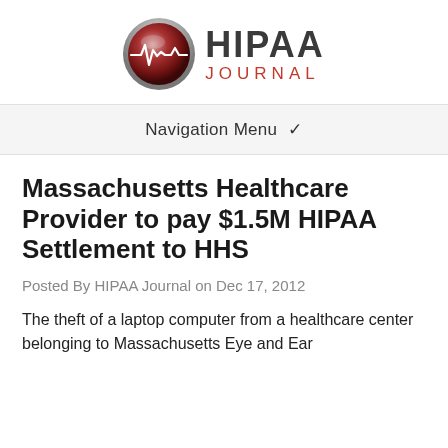[Figure (logo): HIPAA Journal logo with circular metallic icon showing a heartbeat line and bold text HIPAA JOURNAL]
Navigation Menu ▾
Massachusetts Healthcare Provider to pay $1.5M HIPAA Settlement to HHS
Posted By HIPAA Journal on Dec 17, 2012
The theft of a laptop computer from a healthcare center belonging to Massachusetts Eye and Ear